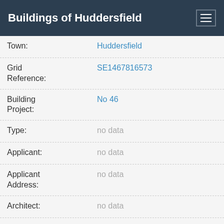Buildings of Huddersfield
| Field | Value |
| --- | --- |
| Town: | Huddersfield |
| Grid Reference: | SE1467816573 |
| Building Project: | No 46 |
| Type: | no data |
| Applicant: | no data |
| Applicant Address: | no data |
| Architect: | no data |
| Architect Address: | no data |
| Status of Project: | no data |
| Contractor: | no data |